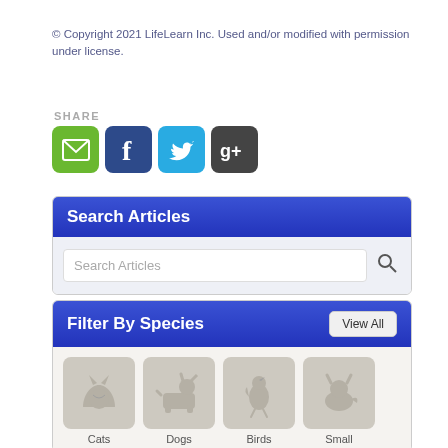© Copyright 2021 LifeLearn Inc. Used and/or modified with permission under license.
SHARE
[Figure (screenshot): Four social share icon buttons: Email (green), Facebook (dark blue), Twitter (light blue), Google+ (dark gray)]
[Figure (screenshot): Search Articles widget with blue gradient header reading 'Search Articles' and a search input box below on a light gray background]
[Figure (screenshot): Filter By Species widget with blue gradient header, 'View All' button, and four species tile icons for Cats, Dogs, Birds, and Small animals]